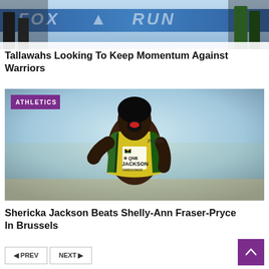[Figure (photo): Sports event photo at top of page, showing athletes with blue FOX RUN banner in background]
Tallawahs Looking To Keep Momentum Against Warriors
[Figure (photo): Photo of Shericka Jackson, Jamaican sprinter, wearing yellow Jamaica uniform with QNB bib, celebrating at Oregon22 World Championships, with ATHLETICS category badge]
Shericka Jackson Beats Shelly-Ann Fraser-Pryce In Brussels